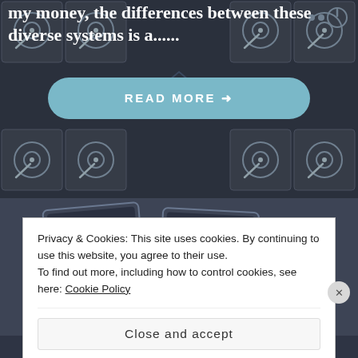[Figure (screenshot): Dark background with hard drive disk icons arranged in a grid pattern, with a Kodi or media center logo faintly visible in the center]
my money, the differences between these diverse systems is a......
READ MORE →
[Figure (screenshot): Second blog post preview image showing devices/tablets on dark blue background]
Privacy & Cookies: This site uses cookies. By continuing to use this website, you agree to their use.
To find out more, including how to control cookies, see here: Cookie Policy
Close and accept
in less than a week